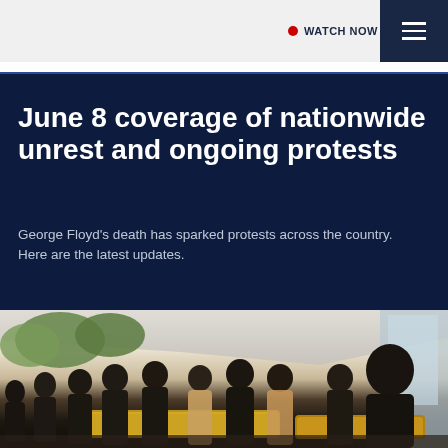WATCH NOW
June 8 coverage of nationwide unrest and ongoing protests
George Floyd's death has sparked protests across the country. Here are the latest updates.
[Figure (photo): People in dark clothing gathered around a golden casket at what appears to be a funeral home or event venue entrance, with trees and vehicles visible in the background. Scene related to George Floyd's funeral.]